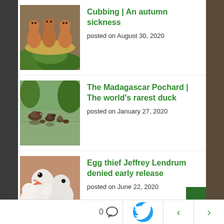[Figure (photo): Fox cubs standing together in a natural outdoor setting with green foliage]
Cubbing | An autumn sickness
posted on August 30, 2020
[Figure (photo): Madagascar Pochard ducks swimming on water with reflections]
The Madagascar Pochard | The world's rarest duck
posted on January 27, 2020
[Figure (photo): White fluffy bird chicks huddled together, one with open beak]
Egg thief Jeffrey Lendrum denied early release
posted on June 22, 2020